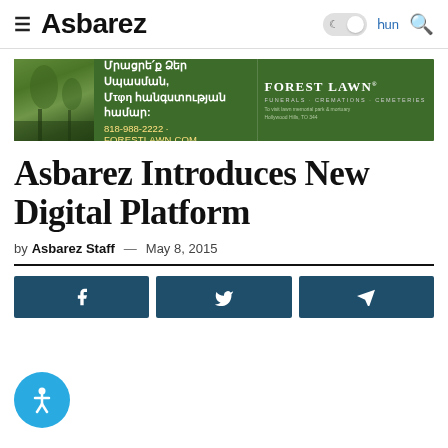≡ Asbarez  ☾  հun  🔍
[Figure (illustration): Forest Lawn advertisement banner with Armenian text: Մրացրե՛ք Ձեր Սպասման, Մτφη հանգստության համար: 818-988-2222 · ForestLawn.com with Forest Lawn logo]
Asbarez Introduces New Digital Platform
by Asbarez Staff — May 8, 2015
[Figure (infographic): Social share buttons: Facebook, Twitter, Share icons in dark teal color]
[Figure (illustration): Blue circular accessibility button with person/wheelchair icon]